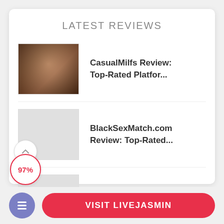LATEST REVIEWS
CasualMilfs Review: Top-Rated Platfor...
BlackSexMatch.com Review: Top-Rated...
WildDate4Sex Review: Top-Rated...
97%
VISIT LIVEJASMIN